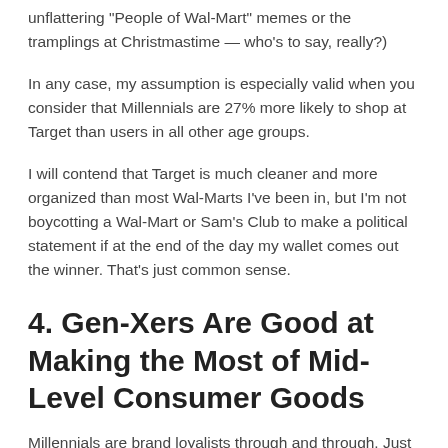unflattering "People of Wal-Mart" memes or the tramplings at Christmastime — who's to say, really?)
In any case, my assumption is especially valid when you consider that Millennials are 27% more likely to shop at Target than users in all other age groups.
I will contend that Target is much cleaner and more organized than most Wal-Marts I've been in, but I'm not boycotting a Wal-Mart or Sam's Club to make a political statement if at the end of the day my wallet comes out the winner. That's just common sense.
4. Gen-Xers Are Good at Making the Most of Mid-Level Consumer Goods
Millennials are brand loyalists through and through. Just